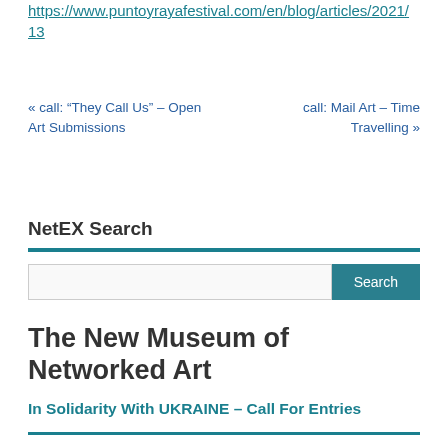https://www.puntoyrayafestival.com/en/blog/articles/2021/13
« call: “They Call Us” – Open Art Submissions
call: Mail Art – Time Travelling »
NetEX Search
Search
The New Museum of Networked Art
In Solidarity With UKRAINE – Call For Entries